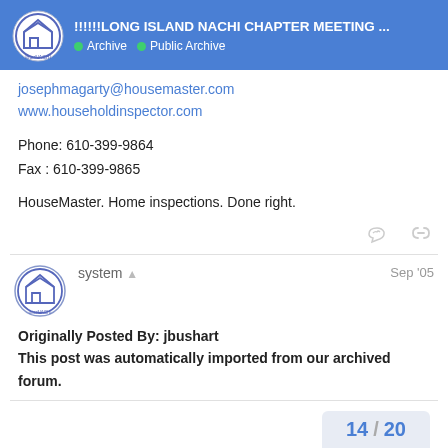!!!!!!LONG ISLAND NACHI CHAPTER MEETING ... | Archive | Public Archive
josephmagarty@housemaster.com
www.householdinspector.com
Phone: 610-399-9864
Fax : 610-399-9865
HouseMaster. Home inspections. Done right.
system | Sep '05
Originally Posted By: jbushart
This post was automatically imported from our archived forum.
14 / 20